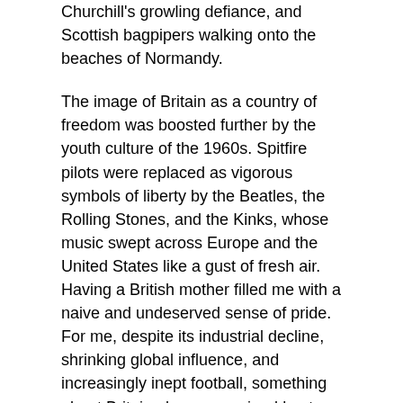Churchill's growling defiance, and Scottish bagpipers walking onto the beaches of Normandy.
The image of Britain as a country of freedom was boosted further by the youth culture of the 1960s. Spitfire pilots were replaced as vigorous symbols of liberty by the Beatles, the Rolling Stones, and the Kinks, whose music swept across Europe and the United States like a gust of fresh air. Having a British mother filled me with a naive and undeserved sense of pride. For me, despite its industrial decline, shrinking global influence, and increasingly inept football, something about Britain always remained best.
There were, of course, many reasons why 52% of those who voted backed the “Leave” campaign. There are reasonable grounds for victims of industrial decline to feel aggrieved. Neither the left nor the right looked after the interests of the old working class in busted mining towns, rusting ports, and decaying smokestack cities. When those left behind by globalization and London’s Big Bang complained that immigrants were making it even harder to find jobs, they were too easily